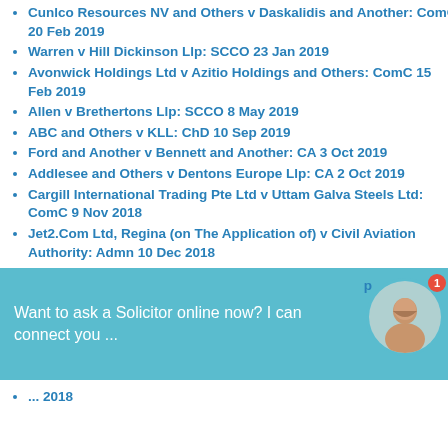Cunlco Resources NV and Others v Daskalidis and Another: ComC 20 Feb 2019
Warren v Hill Dickinson Llp: SCCO 23 Jan 2019
Avonwick Holdings Ltd v Azitio Holdings and Others: ComC 15 Feb 2019
Allen v Brethertons Llp: SCCO 8 May 2019
ABC and Others v KLL: ChD 10 Sep 2019
Ford and Another v Bennett and Another: CA 3 Oct 2019
Addlesee and Others v Dentons Europe Llp: CA 2 Oct 2019
Cargill International Trading Pte Ltd v Uttam Galva Steels Ltd: ComC 9 Nov 2018
Jet2.Com Ltd, Regina (on The Application of) v Civil Aviation Authority: Admn 10 Dec 2018
O'Byrne Re Land at Tubney Manor Farm: UTLC 10 Dec
[Figure (screenshot): Chat widget overlay: teal/cyan background box with white text 'Want to ask a Solicitor online now? I can connect you ...' with a circular avatar photo of a woman on the right and a red badge showing '1']
... 2018